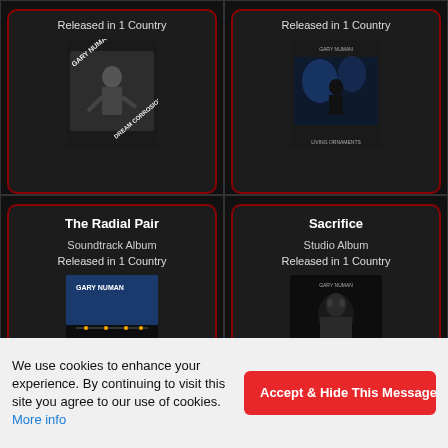[Figure (other): Album card - top left, showing 'Released in 1 Country' and a Gary Numan 'Dream Corrosion' album cover image]
[Figure (other): Album card - top right, showing 'Released in 1 Country' and a Gary Numan live album cover image]
The Radial Pair
Soundtrack Album
Released in 1 Country
[Figure (other): Album card - bottom left, Gary Numan 'The Radial Pair' album cover image (blue cityscape)]
Sacrifice
Studio Album
Released in 1 Country
[Figure (other): Album card - bottom right, Gary Numan 'Sacrifice' album cover image (dark portrait)]
We use cookies to enhance your experience. By continuing to visit this site you agree to our use of cookies. More info
Accept & Hide This Message